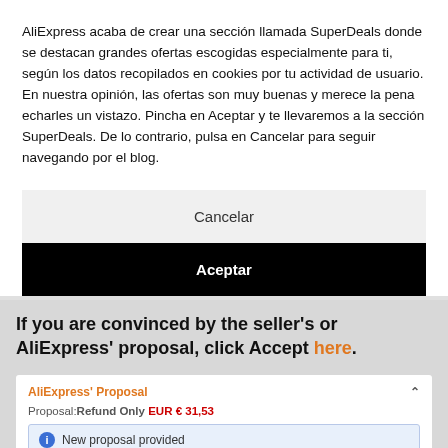AliExpress acaba de crear una sección llamada SuperDeals donde se destacan grandes ofertas escogidas especialmente para ti, según los datos recopilados en cookies por tu actividad de usuario. En nuestra opinión, las ofertas son muy buenas y merece la pena echarles un vistazo. Pincha en Aceptar y te llevaremos a la sección SuperDeals. De lo contrario, pulsa en Cancelar para seguir navegando por el blog.
Cancelar
Aceptar
If you are convinced by the seller's or AliExpress' proposal, click Accept here.
AliExpress' Proposal
Proposal: Refund Only EUR € 31,53
New proposal provided
Comments: The package did not arrive within delivery guarantee time. Valid (AliExpress' Judgement Details)